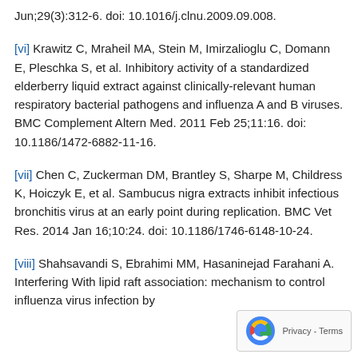Jun;29(3):312-6. doi: 10.1016/j.clnu.2009.09.008.
[vi] Krawitz C, Mraheil MA, Stein M, Imirzalioglu C, Domann E, Pleschka S, et al. Inhibitory activity of a standardized elderberry liquid extract against clinically-relevant human respiratory bacterial pathogens and influenza A and B viruses. BMC Complement Altern Med. 2011 Feb 25;11:16. doi: 10.1186/1472-6882-11-16.
[vii] Chen C, Zuckerman DM, Brantley S, Sharpe M, Childress K, Hoiczyk E, et al. Sambucus nigra extracts inhibit infectious bronchitis virus at an early point during replication. BMC Vet Res. 2014 Jan 16;10:24. doi: 10.1186/1746-6148-10-24.
[viii] Shahsavandi S, Ebrahimi MM, Hasaninejad Farahani A. Interfering With lipid raft association: mechanism to control influenza virus infection by